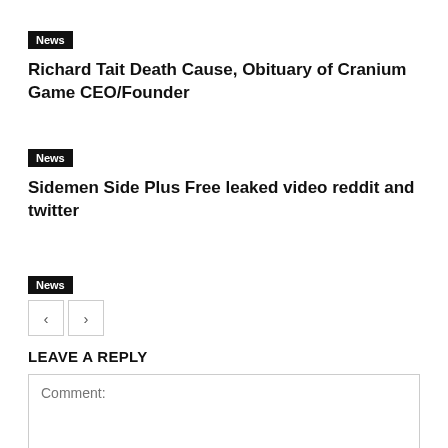News — Richard Tait Death Cause, Obituary of Cranium Game CEO/Founder
News — Sidemen Side Plus Free leaked video reddit and twitter
News — [navigation buttons]
LEAVE A REPLY
Comment: